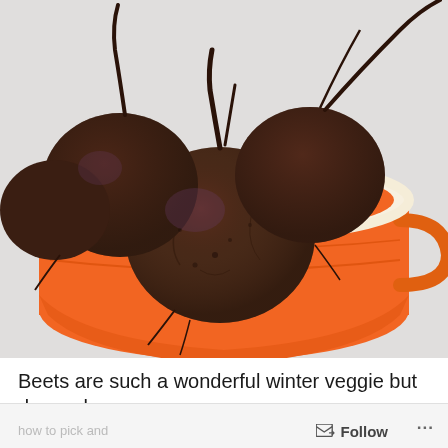[Figure (photo): Several raw beets with stems and roots piled in an orange ceramic bowl, photographed against a white background. The beets have dark reddish-brown skin with visible root tendrils.]
Beets are such a wonderful winter veggie but do you know
Follow ...